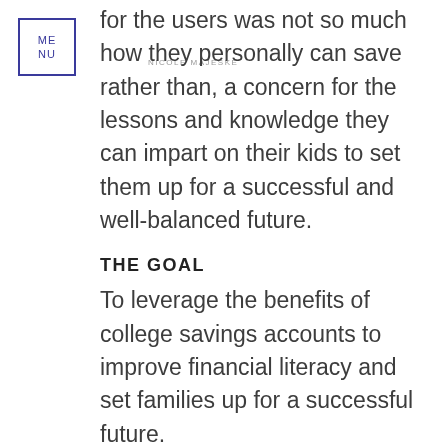ME NU
NICOLE MAJESKE
for the users was not so much how they personally can save rather than, a concern for the lessons and knowledge they can impart on their kids to set them up for a successful and well-balanced future.
THE GOAL
To leverage the benefits of college savings accounts to improve financial literacy and set families up for a successful future.
HOW IT WORKS 01
Parents create an account and